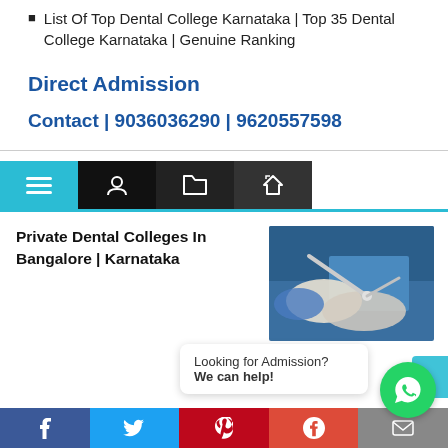List Of Top Dental College Karnataka | Top 35 Dental College Karnataka | Genuine Ranking
Direct Admission
Contact | 9036036290 | 9620557598
[Figure (screenshot): Navigation bar with teal hamburger menu icon and three black icon buttons (user, folder, tag)]
Private Dental Colleges In Bangalore | Karnataka
[Figure (photo): Close-up photo of dental procedure with gloved hands using dental tools]
Looking for Admission? We can help!
[Figure (other): WhatsApp chat button (green circle with phone icon)]
Facebook | Twitter | Pinterest | Google+ | Email social share bar